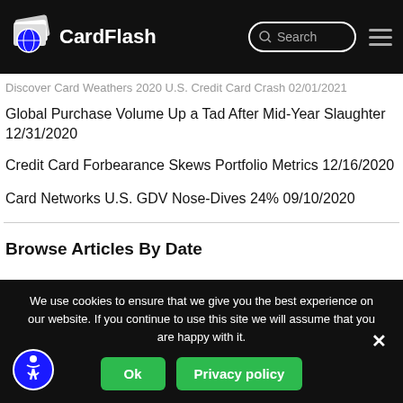CardFlash
Discover Card Weathers 2020 U.S. Credit Card Crash 02/01/2021
Global Purchase Volume Up a Tad After Mid-Year Slaughter 12/31/2020
Credit Card Forbearance Skews Portfolio Metrics 12/16/2020
Card Networks U.S. GDV Nose-Dives 24% 09/10/2020
Browse Articles By Date
We use cookies to ensure that we give you the best experience on our website. If you continue to use this site we will assume that you are happy with it.